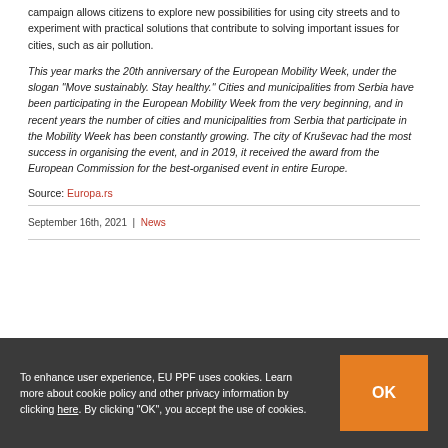campaign allows citizens to explore new possibilities for using city streets and to experiment with practical solutions that contribute to solving important issues for cities, such as air pollution.
This year marks the 20th anniversary of the European Mobility Week, under the slogan “Move sustainably. Stay healthy.” Cities and municipalities from Serbia have been participating in the European Mobility Week from the very beginning, and in recent years the number of cities and municipalities from Serbia that participate in the Mobility Week has been constantly growing. The city of Kruševac had the most success in organising the event, and in 2019, it received the award from the European Commission for the best-organised event in entire Europe.
Source: Europa.rs
September 16th, 2021 | News
To enhance user experience, EU PPF uses cookies. Learn more about cookie policy and other privacy information by clicking here. By clicking "OK", you accept the use of cookies.